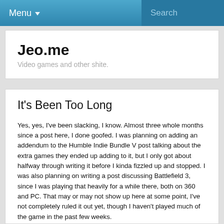Menu  Search
Jeo.me
Video games and other shite.
It's Been Too Long
Yes, yes, I've been slacking, I know. Almost three whole months since a post here, I done goofed. I was planning on adding an addendum to the Humble Indie Bundle V post talking about the extra games they ended up adding to it, but I only got about halfway through writing it before I kinda fizzled up and stopped. I was also planning on writing a post discussing Battlefield 3, since I was playing that heavily for a while there, both on 360 and PC. That may or may not show up here at some point, I've not completely ruled it out yet, though I haven't played much of the game in the past few weeks.
There are other games I have been playing though, ones that are certainly worth talking about. One of those is Dust: An Elysian Tail, the